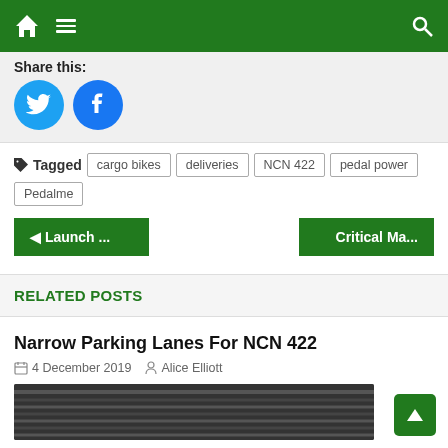Navigation bar with home, menu, and search icons
Share this:
[Figure (other): Twitter and Facebook share buttons (circular blue icons)]
Tagged  cargo bikes  deliveries  NCN 422  pedal power  Pedalme
◄ Launch ...   Critical Ma...
RELATED POSTS
Narrow Parking Lanes For NCN 422
4 December 2019   Alice Elliott
[Figure (photo): Photograph of narrow parking lanes, dark tones, partially visible]